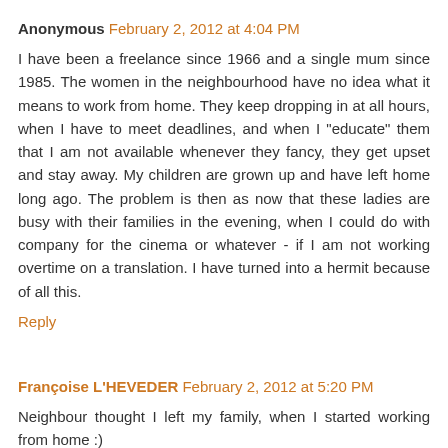Anonymous  February 2, 2012 at 4:04 PM
I have been a freelance since 1966 and a single mum since 1985. The women in the neighbourhood have no idea what it means to work from home. They keep dropping in at all hours, when I have to meet deadlines, and when I "educate" them that I am not available whenever they fancy, they get upset and stay away. My children are grown up and have left home long ago. The problem is then as now that these ladies are busy with their families in the evening, when I could do with company for the cinema or whatever - if I am not working overtime on a translation. I have turned into a hermit because of all this.
Reply
Françoise L'HEVEDER  February 2, 2012 at 5:20 PM
Neighbour thought I left my family, when I started working from home :)
Reply